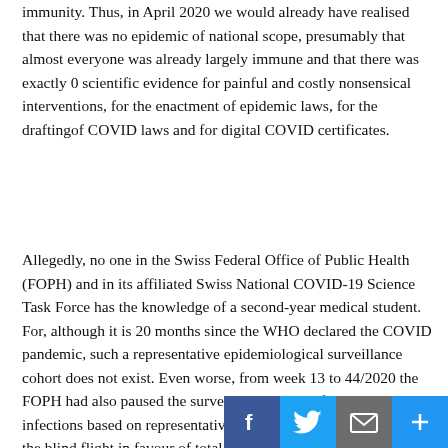immunity. Thus, in April 2020 we would already have realised that there was no epidemic of national scope, presumably that almost everyone was already largely immune and that there was exactly 0 scientific evidence for painful and costly nonsensical interventions, for the enactment of epidemic laws, for the draftingof COVID laws and for digital COVID certificates.
Allegedly, no one in the Swiss Federal Office of Public Health (FOPH) and in its affiliated Swiss National COVID-19 Science Task Force has the knowledge of a second-year medical student. For, although it is 20 months since the WHO declared the COVID pandemic, such a representative epidemiological surveillance cohort does not exist. Even worse, from week 13 to 44/2020 the FOPH had also paused the surveillance systemof viral respiratory infections based on representative medical practices, thereby covering the blind flight in favour of total interpretive